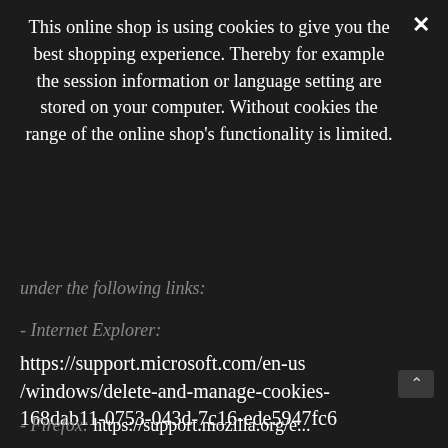This online shop is using cookies to give you the best shopping experience. Thereby for example the session information or language setting are stored on your computer. Without cookies the range of the online shop's functionality is limited.
under the following links:
- Internet Explorer:
https://support.microsoft.com/en-us/windows/delete-and-manage-cookies-168dab11-0753-043d-7c16-ede5947fc6
- Firefox: https://support.mozilla.org/e...